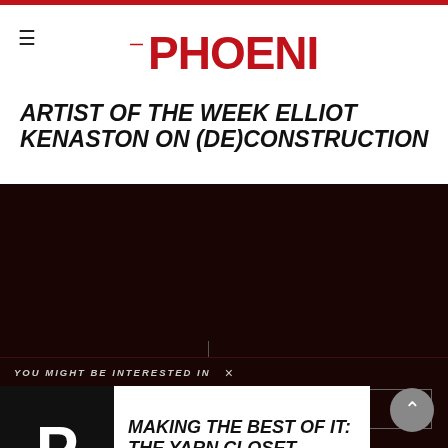THE PHOENIX
ARTIST OF THE WEEK ELLIOT KENASTON ON (DE)CONSTRUCTION
[Figure (logo): The Phoenix logo in red and white on dark background]
categories
YOU MIGHT BE INTERESTED IN  ×
[Figure (other): Popup card with The Phoenix P logo thumbnail and article title MAKING THE BEST OF IT: THE YARN CLOSET]
MAKING THE BEST OF IT: THE YARN CLOSET
...
A Still Small Voice